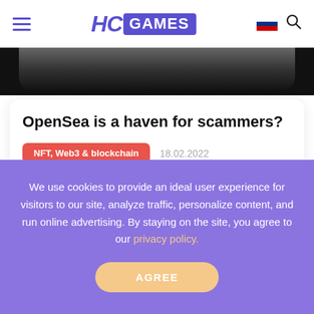HC GAMES
[Figure (photo): Dark image strip, bottom portion of an article hero image]
OpenSea is a haven for scammers?
NFT, Web3 & blockchain   18.02.2022
We use cookies to provide an ideal user experience for visitors to our site, analyze traffic, personalize content, and run online advertising. By staying on the site, you agree to our privacy policy.
AGREE